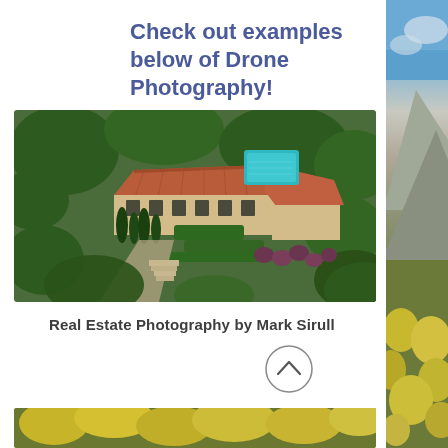Check out examples below of Drone Photography!
[Figure (photo): Aerial drone photograph of a large Mediterranean-style estate with terracotta roof tiles, surrounded by cypress trees, manicured hedges, and a swimming pool visible in the upper portion, taken from above looking down at an angle.]
Real Estate Photography by Mark Sirull
[Figure (photo): Partially visible aerial landscape photograph showing tree canopy with yellows and greens at the bottom of the page.]
[Figure (photo): Right-side vertical strip showing a scenic mountain and sky landscape with blue sky at top transitioning to mountain terrain and yellow-green foliage at bottom.]